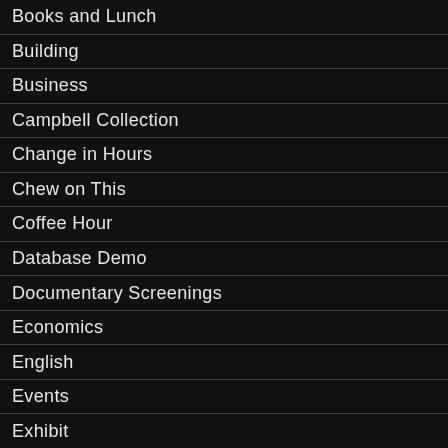Books and Lunch
Building
Business
Campbell Collection
Change in Hours
Chew on This
Coffee Hour
Database Demo
Documentary Screenings
Economics
English
Events
Exhibit